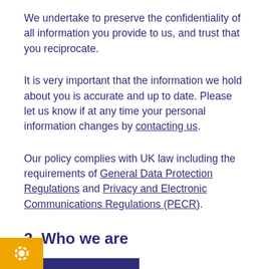We undertake to preserve the confidentiality of all information you provide to us, and trust that you reciprocate.
It is very important that the information we hold about you is accurate and up to date. Please let us know if at any time your personal information changes by contacting us.
Our policy complies with UK law including the requirements of General Data Protection Regulations and Privacy and Electronic Communications Regulations (PECR).
2. Who we are